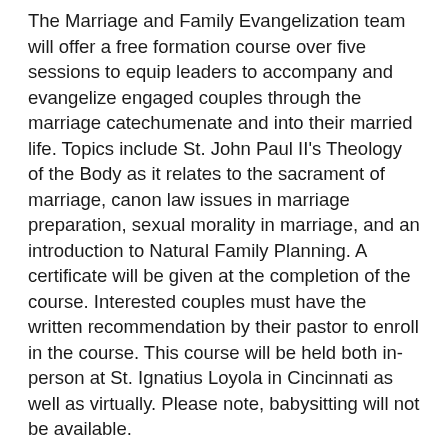The Marriage and Family Evangelization team will offer a free formation course over five sessions to equip leaders to accompany and evangelize engaged couples through the marriage catechumenate and into their married life. Topics include St. John Paul II's Theology of the Body as it relates to the sacrament of marriage, canon law issues in marriage preparation, sexual morality in marriage, and an introduction to Natural Family Planning. A certificate will be given at the completion of the course. Interested couples must have the written recommendation by their pastor to enroll in the course. This course will be held both in-person at St. Ignatius Loyola in Cincinnati as well as virtually. Please note, babysitting will not be available.
Class Dates: Sept. 6 & 20, Oct. 4 & 18, and Nov. 15.
Marriage and Family Leaders' Statement of Good